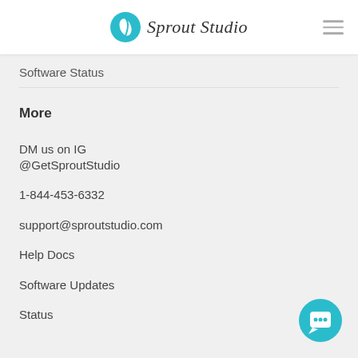Sprout Studio
Software Status
More
DM us on IG @GetSproutStudio
1-844-453-6332
support@sproutstudio.com
Help Docs
Software Updates
Status